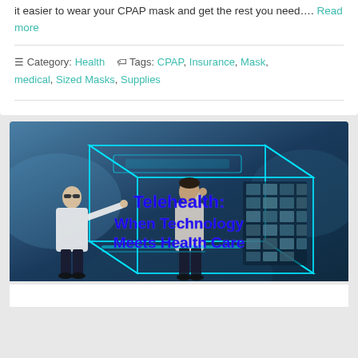it easier to wear your CPAP mask and get the rest you need…. Read more
Category: Health   Tags: CPAP, Insurance, Mask, medical, Sized Masks, Supplies
[Figure (photo): Telehealth promotional image showing two doctors in a futuristic blue neon-lit medical environment with brain scan images displayed. Text overlay reads: Telehealth: When Technology Meets Health Care]